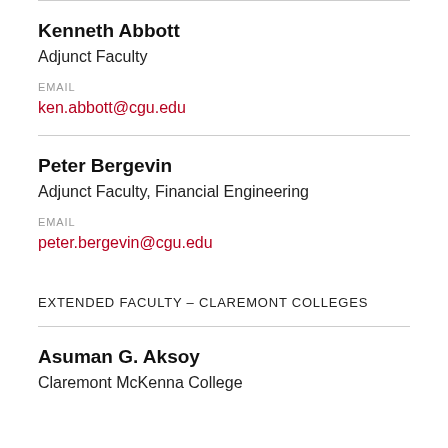Kenneth Abbott
Adjunct Faculty
EMAIL
ken.abbott@cgu.edu
Peter Bergevin
Adjunct Faculty, Financial Engineering
EMAIL
peter.bergevin@cgu.edu
EXTENDED FACULTY – CLAREMONT COLLEGES
Asuman G. Aksoy
Claremont McKenna College